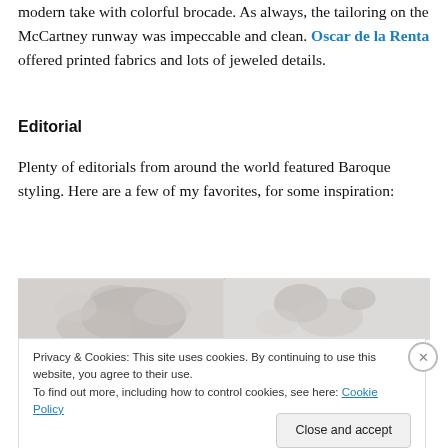modern take with colorful brocade. As always, the tailoring on the McCartney runway was impeccable and clean. Oscar de la Renta offered printed fabrics and lots of jeweled details.
Editorial
Plenty of editorials from around the world featured Baroque styling. Here are a few of my favorites, for some inspiration:
[Figure (photo): Two side-by-side fashion editorial photos showing baroque-styled subjects, partially visible, in grayscale tones]
Privacy & Cookies: This site uses cookies. By continuing to use this website, you agree to their use.
To find out more, including how to control cookies, see here: Cookie Policy
Close and accept